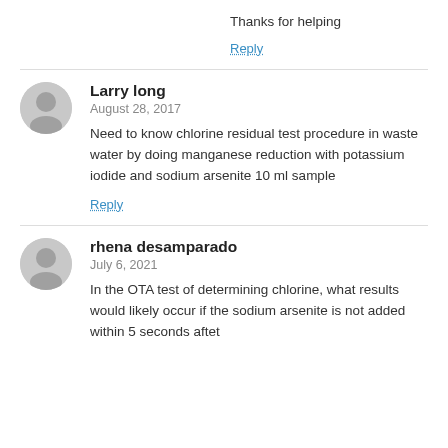Thanks for helping
Reply
Larry long
August 28, 2017
Need to know chlorine residual test procedure in waste water by doing manganese reduction with potassium iodide and sodium arsenite 10 ml sample
Reply
rhena desamparado
July 6, 2021
In the OTA test of determining chlorine, what results would likely occur if the sodium arsenite is not added within 5 seconds aftet